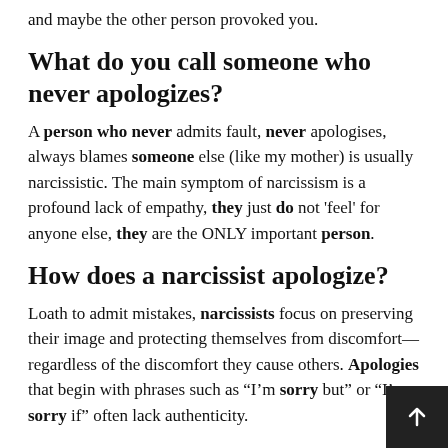and maybe the other person provoked you.
What do you call someone who never apologizes?
A person who never admits fault, never apologises, always blames someone else (like my mother) is usually narcissistic. The main symptom of narcissism is a profound lack of empathy, they just do not 'feel' for anyone else, they are the ONLY important person.
How does a narcissist apologize?
Loath to admit mistakes, narcissists focus on preserving their image and protecting themselves from discomfort—regardless of the discomfort they cause others. Apologies that begin with phrases such as “I’m sorry but” or “I’m sorry if” often lack authenticity.